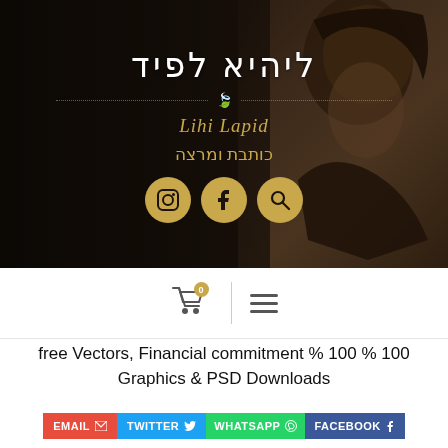[Figure (screenshot): Website hero banner with dark background showing a woman portrait, Hebrew title text, script subtitle, decorative divider with leaf icon, golden social media icon buttons (Instagram, Facebook, Search)]
[Figure (screenshot): Navigation bar with shopping cart icon with badge '0', vertical divider line, and hamburger menu icon]
free Vectors, Financial commitment % 100 % 100 Graphics & PSD Downloads
[Figure (screenshot): Share buttons row: EMAIL (red), TWITTER (blue), WHATSAPP (green), FACEBOOK (dark blue)]